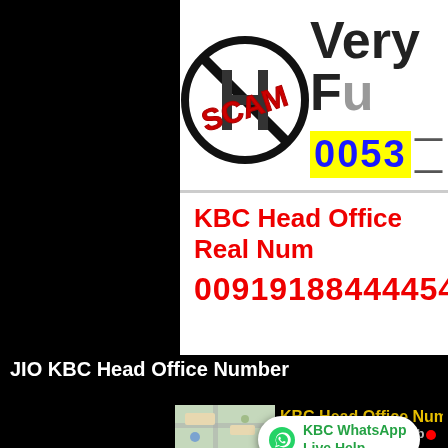[Figure (screenshot): SCAM logo with circular no-sign and red SCAM text overlaid, next to partial text 'Very F...' and a number partially obscured]
KBC Head Office Real Num...
00919188444454
JIO KBC Head Office Number
[Figure (screenshot): Map thumbnail and KBC Head Office Number card with red dot and partial text]
KBC WhatsApp Live Help